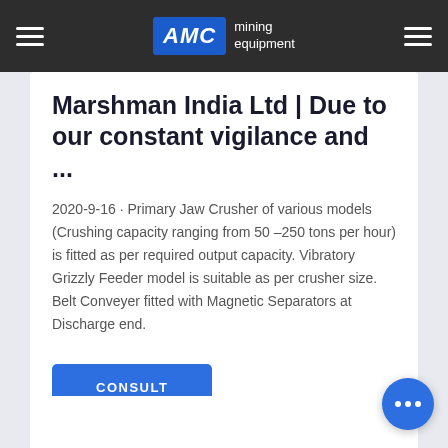AMC mining equipment
Marshman India Ltd | Due to our constant vigilance and ...
2020-9-16 · Primary Jaw Crusher of various models (Crushing capacity ranging from 50 –250 tons per hour) is fitted as per required output capacity. Vibratory Grizzly Feeder model is suitable as per crusher size. Belt Conveyer fitted with Magnetic Separators at Discharge end.
CONSULT